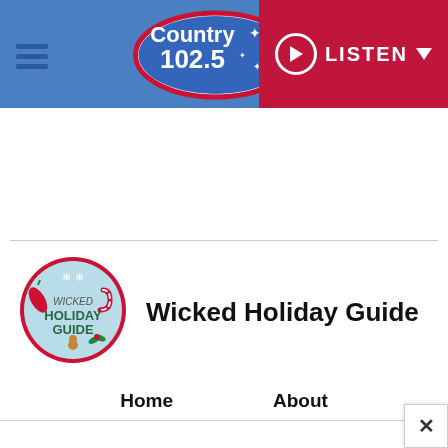[Figure (screenshot): Country 102.5 radio station website header with blue background, station logo in center, hamburger menu on left, and red LISTEN button with play icon and dropdown arrow on right]
[Figure (logo): Wicked Holiday Guide circular logo with holiday decorations, candy canes, gingerbread man, and text 'WICKED HOLIDAY GUIDE' on light blue background with red border]
Wicked Holiday Guide
Home
About